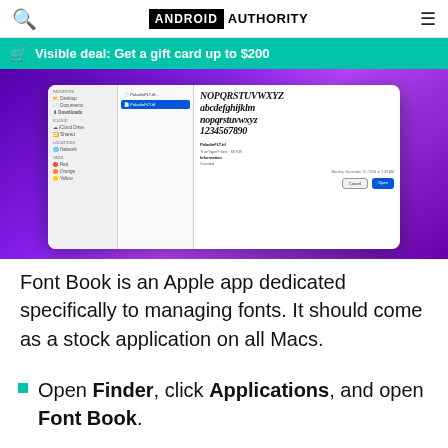ANDROID AUTHORITY
Visible deal: Get a gift card up to $200
[Figure (screenshot): Mac Finder dialog showing a font file (PaladinFLT.ttf) selected, with a preview of the blackletter/gothic font displaying NOPQRSTUVWXYZ, abcdefghijklm, nopqrstuvwxyz, 1234567890 along with file information panel.]
Font Book is an Apple app dedicated specifically to managing fonts. It should come as a stock application on all Macs.
Open Finder, click Applications, and open Font Book.